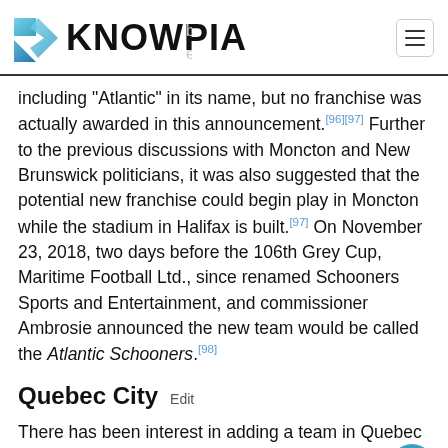KNOWPIA
including "Atlantic" in its name, but no franchise was actually awarded in this announcement.[96][97] Further to the previous discussions with Moncton and New Brunswick politicians, it was also suggested that the potential new franchise could begin play in Moncton while the stadium in Halifax is built.[97] On November 23, 2018, two days before the 106th Grey Cup, Maritime Football Ltd., since renamed Schooners Sports and Entertainment, and commissioner Ambrosie announced the new team would be called the Atlantic Schooners.[98]
Quebec City  Edit
There has been interest in adding a team in Quebec City. In 2003, an exhibition game was held at Telus